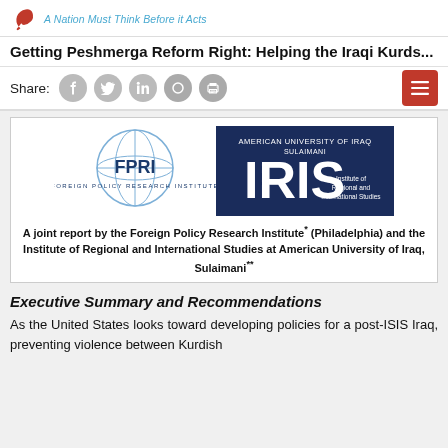A Nation Must Think Before it Acts
Getting Peshmerga Reform Right: Helping the Iraqi Kurds...
Share:
[Figure (logo): FPRI Foreign Policy Research Institute globe logo and IRIS Institute of Regional and International Studies at American University of Iraq Sulaimani logos side by side]
A joint report by the Foreign Policy Research Institute* (Philadelphia) and the Institute of Regional and International Studies at American University of Iraq, Sulaimani**
Executive Summary and Recommendations
As the United States looks toward developing policies for a post-ISIS Iraq, preventing violence between Kurdish